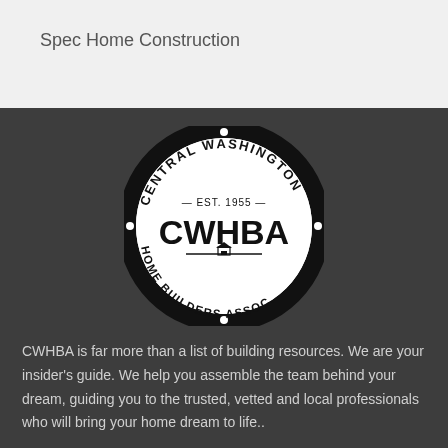Spec Home Construction
[Figure (logo): Central Washington Home Builders Association (CWHBA) circular logo, est. 1955, black and white, with building icon and decorative dots around the ring.]
CWHBA is far more than a list of building resources. We are your insider's guide. We help you assemble the team behind your dream, guiding you to the trusted, vetted and local professionals who will bring your home dream to life..
EMAIL SIGN-UP